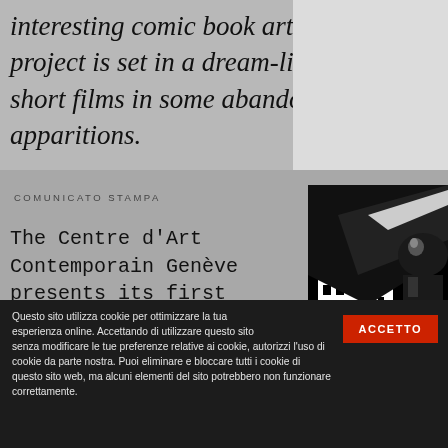interesting comic book artists on the inte... project is set in a dream-like world, non-s... short films in some abandoned cinema, w... apparitions.
COMUNICATO STAMPA
The Centre d'Art Contemporain Genève presents its first exhibition dedicated to contemporary comics with Cinema Zenit by Italian artist Andrea Bruno. Andrea Bruno...
[Figure (photo): Black and white high-contrast photo showing a person's face and urban building structures in the background, rendered in stark black and white with comic book-like contrast.]
Questo sito utilizza cookie per ottimizzare la tua esperienza online. Accettando di utilizzare questo sito senza modificare le tue preferenze relative ai cookie, autorizzi l'uso di cookie da parte nostra. Puoi eliminare e bloccare tutti i cookie di questo sito web, ma alcuni elementi del sito potrebbero non funzionare correttamente.